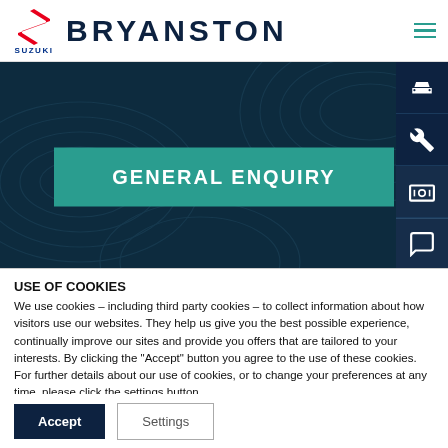SUZUKI BRYANSTON
[Figure (screenshot): Hero banner with dark teal topographic pattern background and 'GENERAL ENQUIRY' teal banner in center]
GENERAL ENQUIRY
USE OF COOKIES
We use cookies – including third party cookies – to collect information about how visitors use our websites. They help us give you the best possible experience, continually improve our sites and provide you offers that are tailored to your interests. By clicking the "Accept" button you agree to the use of these cookies. For further details about our use of cookies, or to change your preferences at any time, please click the settings button.
Accept
Settings